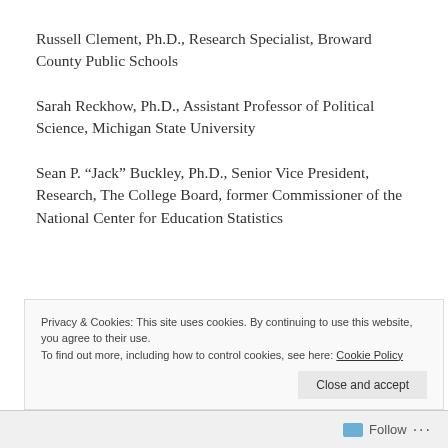Russell Clement, Ph.D., Research Specialist, Broward County Public Schools
Sarah Reckhow, Ph.D., Assistant Professor of Political Science, Michigan State University
Sean P. “Jack” Buckley, Ph.D., Senior Vice President, Research, The College Board, former Commissioner of the National Center for Education Statistics
Privacy & Cookies: This site uses cookies. By continuing to use this website, you agree to their use.
To find out more, including how to control cookies, see here: Cookie Policy